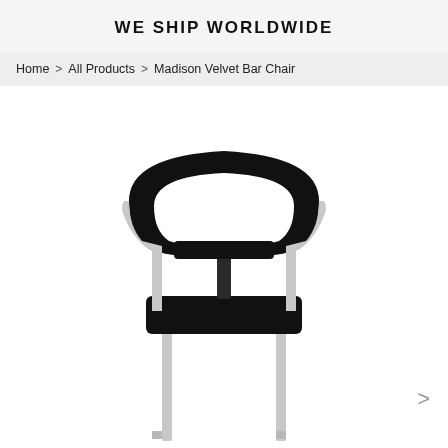WE SHIP WORLDWIDE
Home > All Products > Madison Velvet Bar Chair
[Figure (photo): Front view of a Madison Velvet Bar Chair with a curved black velvet backrest and seat cushion, supported by a silver/chrome metal frame with four legs.]